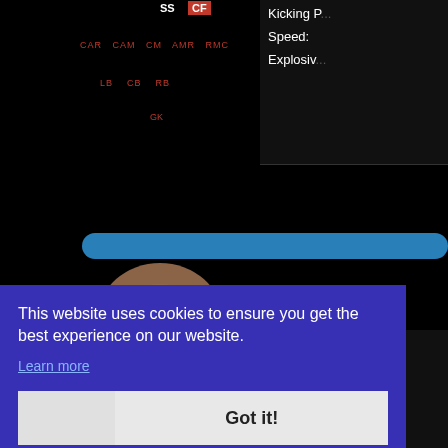[Figure (screenshot): Football manager game interface showing formation positions (SS, CF in red badge, formation rows with position abbreviations in red text), a blue progress bar, a 3D rendered bald player face, right panel with Kicking, Speed, Explosiveness stats and social links (Permalink, Forum, Facebook, Twitter), and a cookie consent overlay covering the lower portion with text 'This website uses cookies to ensure you get the best experience on our website.', 'Learn more' link, and 'Got it!' button. Bottom shows partial orange text 'How to sign this'.]